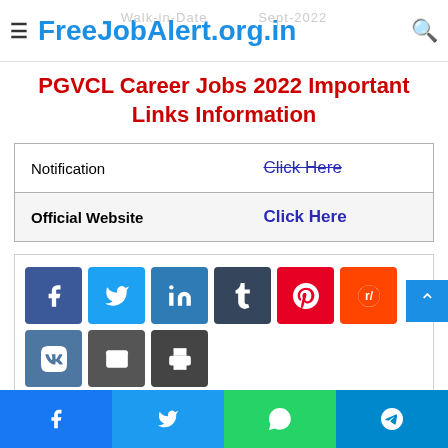FreeJobAlert.org.in
PGVCL Career Jobs 2022 Important Links Information
|  |  |
| --- | --- |
| Notification | Click Here |
| Official Website | Click Here |
[Figure (infographic): Social media share buttons: Facebook, Twitter, LinkedIn, Tumblr, Pinterest, Reddit, VK, Email, Print]
Social share bottom bar: Facebook, Twitter, WhatsApp, Telegram